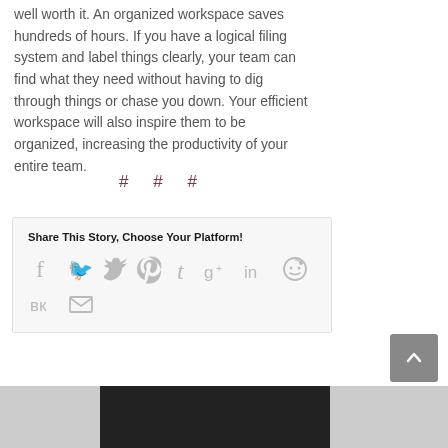well worth it. An organized workspace saves hundreds of hours. If you have a logical filing system and label things clearly, your team can find what they need without having to dig through things or chase you down. Your efficient workspace will also inspire them to be organized, increasing the productivity of your entire team.
# # #
Share This Story, Choose Your Platform!
[Figure (infographic): Social media sharing icons: Facebook, Twitter, Pinterest, Tumblr, Google+, LinkedIn, Reddit, VK, Email]
[Figure (photo): Partial photo visible at bottom of page — dark background with a figure, appears to be a person]